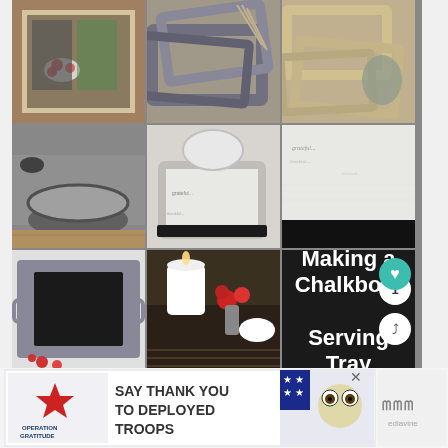[Figure (photo): 3x3 collage grid of 9 images showing steps for making a chalkboard serving tray: wooden frame with flowers, gray painted picture frames, unpainted wood frames, rolled chalkboard sheet, painted white tray corner, white chalkboard surface with text, finished chalkboard tray with handles, tray styled with candle and flowers, and dark title card reading 'Making a Chalkboard Serving Tray'. Social sharing buttons (heart, number 1, share) overlay the bottom-right corner.]
[Figure (photo): Advertisement banner: Operation Gratitude 'Say Thank You to Deployed Troops' with patriotic star imagery and owl mascot graphic on right side. Close button (X) visible. Mediavine logo abbreviated on far right.]